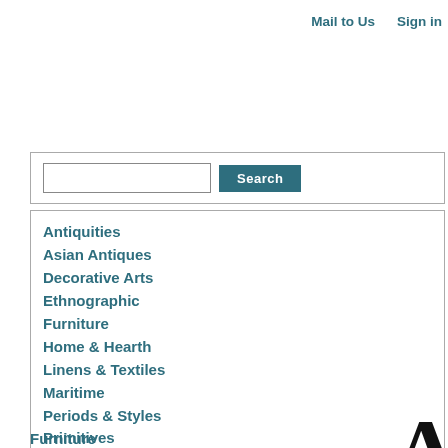Mail to Us   Sign in
Antiquities
Asian Antiques
Decorative Arts
Ethnographic
Furniture
Home & Hearth
Linens & Textiles
Maritime
Periods & Styles
Primitives
Science & Medicine
Sewing
Silver
See all categories
SUBMIT your Antiques
Furniture
Uploaded by sas79   on Apr 6, 2...
Categ... Style:
ANTIQUE FRENCH AR...